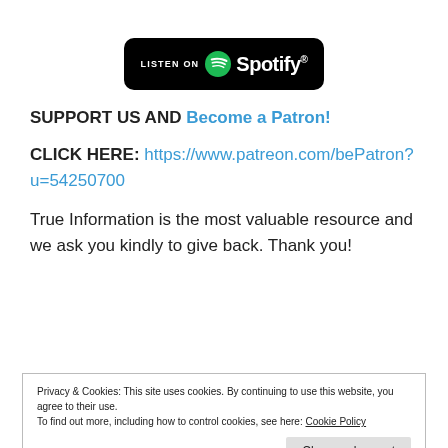[Figure (logo): Listen on Spotify button — black rounded rectangle with white Spotify logo and wordmark]
SUPPORT US AND Become a Patron!
CLICK HERE: https://www.patreon.com/bePatron?u=54250700
True Information is the most valuable resource and we ask you kindly to give back. Thank you!
Privacy & Cookies: This site uses cookies. By continuing to use this website, you agree to their use.
To find out more, including how to control cookies, see here: Cookie Policy
Close and accept